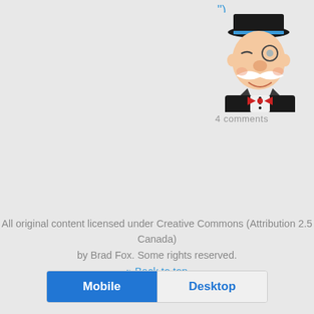").
[Figure (illustration): Cartoon illustration of the Monopoly man (Rich Uncle Pennybags) character, showing his face and upper body with top hat, monocle, white mustache, bow tie, and tuxedo.]
4 comments
All original content licensed under Creative Commons (Attribution 2.5 Canada) by Brad Fox. Some rights reserved.
⇑ Back to top
Mobile   Desktop